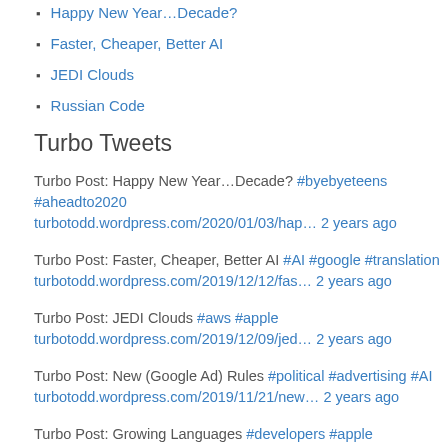Happy New Year…Decade?
Faster, Cheaper, Better AI
JEDI Clouds
Russian Code
Turbo Tweets
Turbo Post: Happy New Year…Decade? #byebyeteens #aheadto2020 turbotodd.wordpress.com/2020/01/03/hap… 2 years ago
Turbo Post: Faster, Cheaper, Better AI #AI #google #translation turbotodd.wordpress.com/2019/12/12/fas… 2 years ago
Turbo Post: JEDI Clouds #aws #apple turbotodd.wordpress.com/2019/12/09/jed… 2 years ago
Turbo Post: New (Google Ad) Rules #political #advertising #AI turbotodd.wordpress.com/2019/11/21/new… 2 years ago
Turbo Post: Growing Languages #developers #apple turbotodd.wordpress.com/2019/11/19/gro… 2 years ago